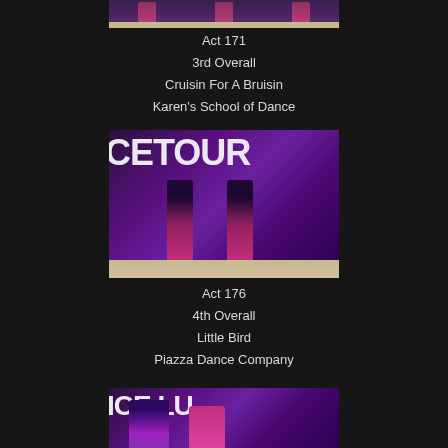[Figure (photo): Partial photo of dancers on stage with purple/dark background, cropped at top of page]
Act 171
3rd Overall
Cruisin For A Bruisin
Karen's School of Dance
[Figure (photo): Photo of two dancers in pink/magenta costumes walking away from camera on stage, large white text 'CE TOUR' in background on purple lit stage]
Act 176
4th Overall
Little Bird
Piazza Dance Company
[Figure (photo): Partial photo of dancers on stage with 'ICE LU' text visible in background, purple stage lighting, dancers in purple costumes]